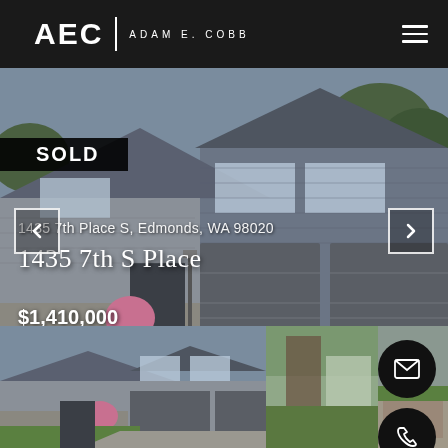AEC | ADAM E. COBB
[Figure (photo): Exterior photo of a modern two-story house with gray siding, stone accents, double garage, and landscaped lawn in Edmonds, WA]
SOLD
1435 7th Place S, Edmonds, WA 98020
1435 7th S Place
$1,410,000
[Figure (photo): Thumbnail photo of house exterior from street view]
[Figure (photo): Thumbnail photo of backyard or outdoor area with fence]
[Figure (photo): Thumbnail photo of outdoor/interior area]